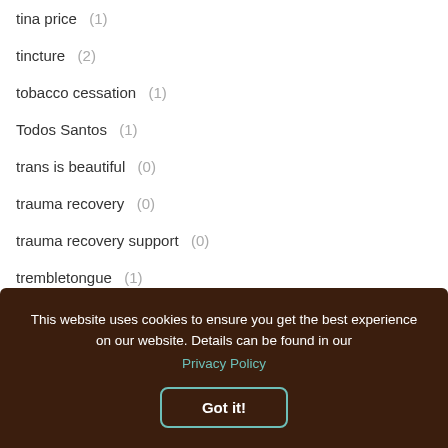tina price  (1)
tincture  (2)
tobacco cessation  (1)
Todos Santos  (1)
trans is beautiful  (0)
trauma recovery  (0)
trauma recovery support  (0)
trembletongue  (1)
This website uses cookies to ensure you get the best experience on our website. Details can be found in our Privacy Policy
Got it!